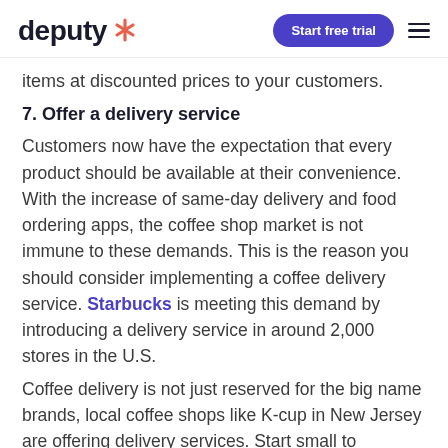deputy [logo] | Start free trial [button] | [menu icon]
items at discounted prices to your customers.
7. Offer a delivery service
Customers now have the expectation that every product should be available at their convenience. With the increase of same-day delivery and food ordering apps, the coffee shop market is not immune to these demands. This is the reason you should consider implementing a coffee delivery service. Starbucks is meeting this demand by introducing a delivery service in around 2,000 stores in the U.S.
Coffee delivery is not just reserved for the big name brands, local coffee shops like K-cup in New Jersey are offering delivery services. Start small to